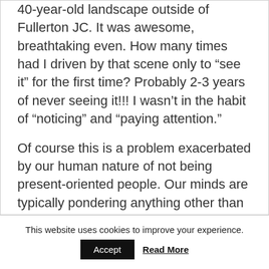40-year-old landscape outside of Fullerton JC. It was awesome, breathtaking even. How many times had I driven by that scene only to “see it” for the first time? Probably 2-3 years of never seeing it!!! I wasn’t in the habit of “noticing” and “paying attention.”
Of course this is a problem exacerbated by our human nature of not being present-oriented people. Our minds are typically pondering anything other than what we are doing at the present moment. We’re in a hurry, bored or frantic, thinking about kids or
This website uses cookies to improve your experience. Accept  Read More